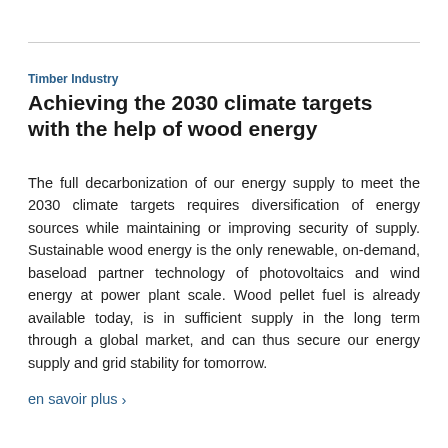Timber Industry
Achieving the 2030 climate targets with the help of wood energy
The full decarbonization of our energy supply to meet the 2030 climate targets requires diversification of energy sources while maintaining or improving security of supply. Sustainable wood energy is the only renewable, on-demand, baseload partner technology of photovoltaics and wind energy at power plant scale. Wood pellet fuel is already available today, is in sufficient supply in the long term through a global market, and can thus secure our energy supply and grid stability for tomorrow.
en savoir plus >